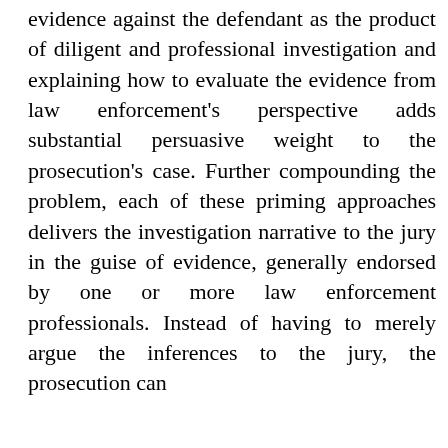evidence against the defendant as the product of diligent and professional investigation and explaining how to evaluate the evidence from law enforcement's perspective adds substantial persuasive weight to the prosecution's case. Further compounding the problem, each of these priming approaches delivers the investigation narrative to the jury in the guise of evidence, generally endorsed by one or more law enforcement professionals. Instead of having to merely argue the inferences to the jury, the prosecution can